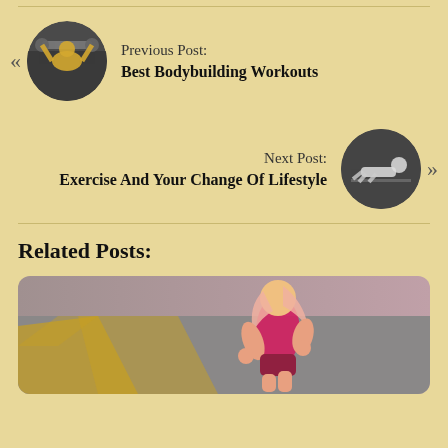Previous Post: Best Bodybuilding Workouts
Next Post: Exercise And Your Change Of Lifestyle
Related Posts:
[Figure (photo): Runner in pink sports top running on a road with yellow lane markings, viewed from behind]